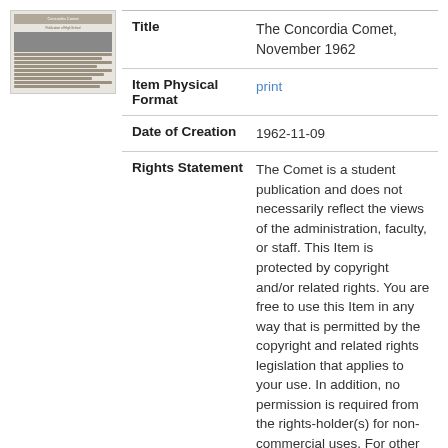[Figure (photo): Thumbnail image of a newspaper page - The Concordia Comet]
| Field | Value |
| --- | --- |
| Title | The Concordia Comet, November 1962 |
| Item Physical Format | print |
| Date of Creation | 1962-11-09 |
| Rights Statement | The Comet is a student publication and does not necessarily reflect the views of the administration, faculty, or staff. This Item is protected by copyright and/or related rights. You are free to use this Item in any way that is permitted by the copyright and related rights legislation that applies to your use. In addition, no permission is required from the rights-holder(s) for non-commercial uses. For other uses you need to obtain permission |